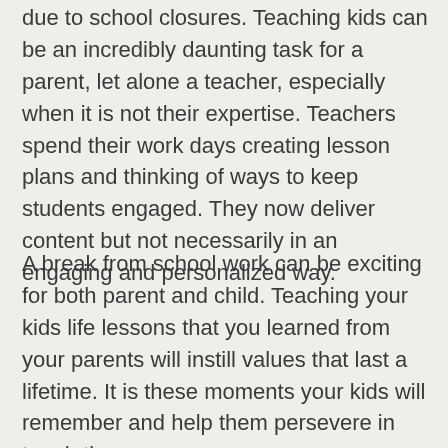due to school closures. Teaching kids can be an incredibly daunting task for a parent, let alone a teacher, especially when it is not their expertise. Teachers spend their work days creating lesson plans and thinking of ways to keep students engaged. They now deliver content but not necessarily in an engaging and personalized way.
A break from school work can be exciting for both parent and child. Teaching your kids life lessons that you learned from your parents will instill values that last a lifetime. It is these moments your kids will remember and help them persevere in tough times.